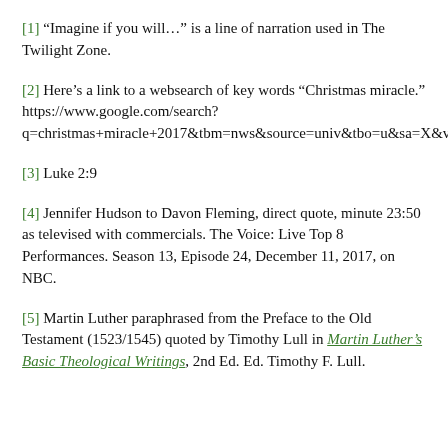[1] “Imagine if you will…” is a line of narration used in The Twilight Zone.
[2] Here’s a link to a websearch of key words “Christmas miracle.” https://www.google.com/search?q=christmas+miracle+2017&tbm=nws&source=univ&tbo=u&sa=X&ved=0ahUKEwi965GngP3XAhUI2WMKHSoiBucQt8YBCEQoAQ&biw=1366&bih=662
[3] Luke 2:9
[4] Jennifer Hudson to Davon Fleming, direct quote, minute 23:50 as televised with commercials. The Voice: Live Top 8 Performances. Season 13, Episode 24, December 11, 2017, on NBC.
[5] Martin Luther paraphrased from the Preface to the Old Testament (1523/1545) quoted by Timothy Lull in Martin Luther’s Basic Theological Writings, 2nd Ed. Ed. Timothy F. Lull.